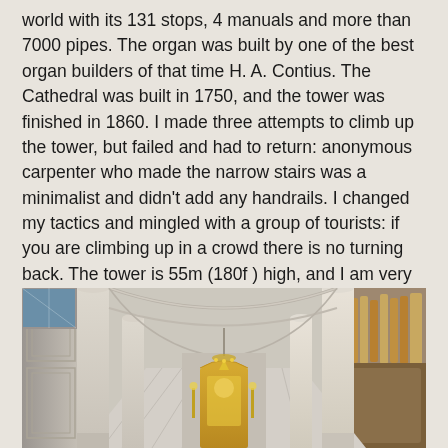world with its 131 stops, 4 manuals and more than 7000 pipes. The organ was built by one of the best organ builders of that time H. A. Contius. The Cathedral was built in 1750, and the tower was finished in 1860. I made three attempts to climb up the tower, but failed and had to return: anonymous carpenter who made the narrow stairs was a minimalist and didn't add any handrails. I changed my tactics and mingled with a group of tourists: if you are climbing up in a crowd there is no turning back. The tower is 55m (180f ) high, and I am very proud of myself for finally making it up to the top.
[Figure (photo): Interior of a cathedral showing tall white stone columns, vaulted arches, and an ornate golden altar at the far end. The nave is visible with baroque decorative elements.]